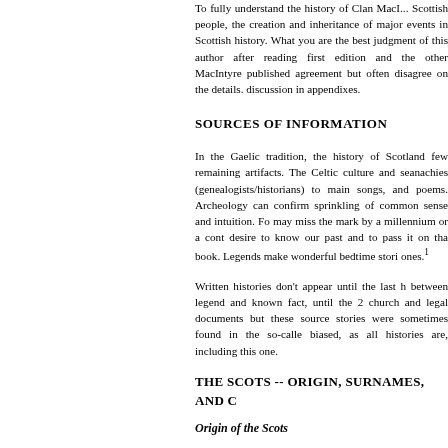To fully understand the history of Clan MacI... Scottish people, the creation and inheritance of major events in Scottish history. What you are reading is the best judgment of this author after reading both the first edition and the other MacIntyre published... agreement but often disagree on the details. See discussion in appendixes.
SOURCES OF INFORMATION
In the Gaelic tradition, the history of Scotland... few remaining artifacts. The Celtic culture and... seanachies (genealogists/historians) to main... songs, and poems. Archeology can confirm... sprinkling of common sense and intuition. For... may miss the mark by a millennium or a cont... desire to know our past and to pass it on that... book. Legends make wonderful bedtime stori... ones.¹
Written histories don't appear until the last h... between legend and known fact, until the 2... church and legal documents but these source... stories were sometimes found in the so-calle... biased, as all histories are, including this one.
THE SCOTS -- ORIGIN, SURNAMES, AND C
Origin of the Scots